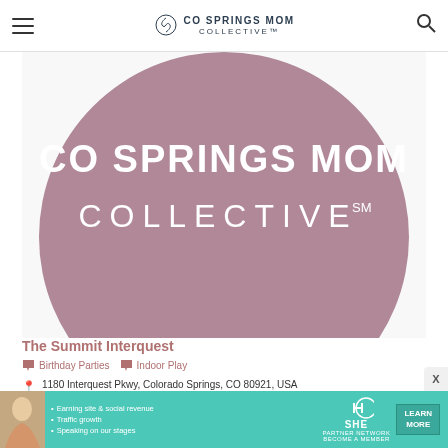CO SPRINGS MOM COLLECTIVE
[Figure (logo): CO Springs Mom Collective logo — large mauve/dusty-rose circle with white text: CO SPRINGS MOM on top line, COLLECTIVE SM on second line]
The Summit Interquest
Birthday Parties
Indoor Play
1180 Interquest Pkwy, Colorado Springs, CO 80921, USA
(719) 278-3861
info@thesummitinterquest.com
[Figure (infographic): SHE Partner Network advertisement banner — teal background with woman photo, bullet points about earning site & social revenue, traffic growth, speaking on stages, SHE Media logo, LEARN MORE button]